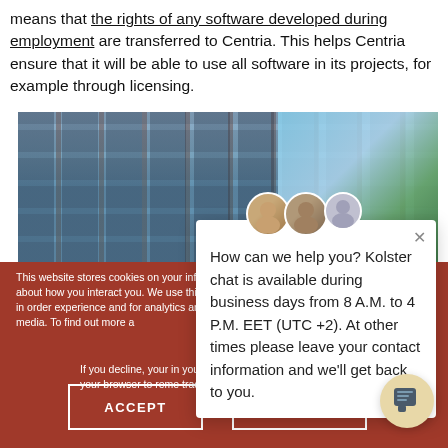means that the rights of any software developed during employment are transferred to Centria. This helps Centria ensure that it will be able to use all software in its projects, for example through licensing.
[Figure (photo): Exterior photo of a modern glass office building with blue sky and trees in the background]
This website stores cookies on your information about how you interact you. We use this information in order experience and for analytics and m and other media. To find out more a
If you decline, your in you visit this website. your browser to reme tracked.
How can we help you? Kolster chat is available during business days from 8 A.M. to 4 P.M. EET (UTC +2). At other times please leave your contact information and we'll get back to you.